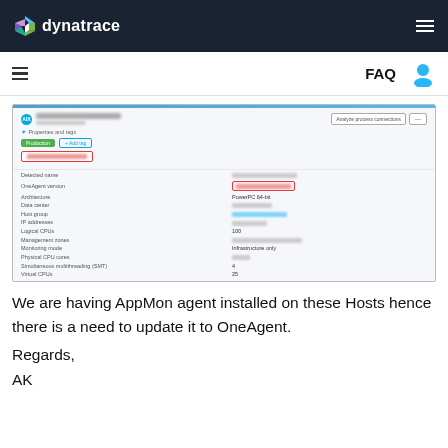dynatrace
[Figure (screenshot): Screenshot of Dynatrace host properties panel showing an AIX host with properties including Detected name, OneAgent version (highlighted in red border), Architecture (PowerPC 64-bit), Data center, Host group, IP addresses, Logical CPUs (100), Management zones, Monitoring mode (Infrastructure only), Physical CPU cores, Simultaneous multithreading (SMT): 4, Virtual CPUs: 25, Virtualization: LPAR]
We are having AppMon agent installed on these Hosts hence there is a need to update it to OneAgent.
Regards,
AK